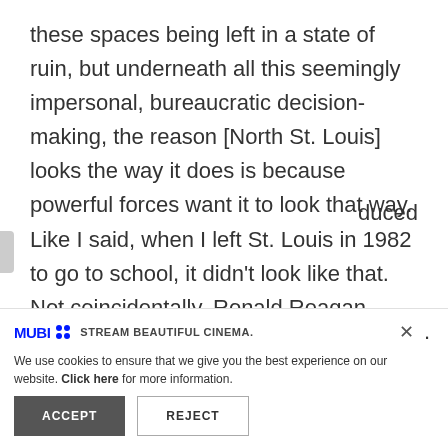these spaces being left in a state of ruin, but underneath all this seemingly impersonal, bureaucratic decision-making, the reason [North St. Louis] looks the way it does is because powerful forces want it to look that way. Like I said, when I left St. Louis in 1982 to go to school, it didn't look like that. Not coincidentally, Ronald Reagan became the President of the United States around the same time. When I returned in the '90s, it did
duced
[Figure (other): MUBI banner with logo and STREAM BEAUTIFUL CINEMA. text and close X button]
We use cookies to ensure that we give you the best experience on our website. Click here for more information.
ACCEPT   REJECT